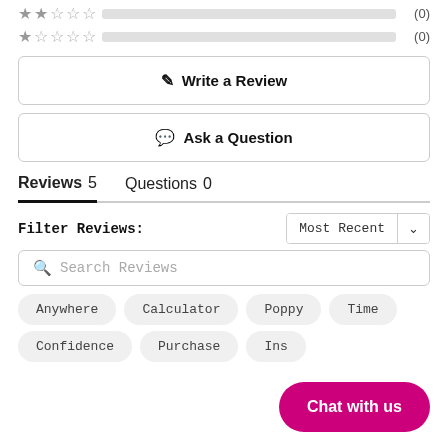[Figure (other): 2-star rating row with empty progress bar showing (0) reviews]
[Figure (other): 1-star rating row with empty progress bar showing (0) reviews]
✎ Write a Review
💬 Ask a Question
Reviews 5   Questions 0
Filter Reviews:
Most Recent ∨
🔍 Search Reviews
Anywhere
Calculator
Poppy
Time
Confidence
Purchase
Ins…
Chat with us